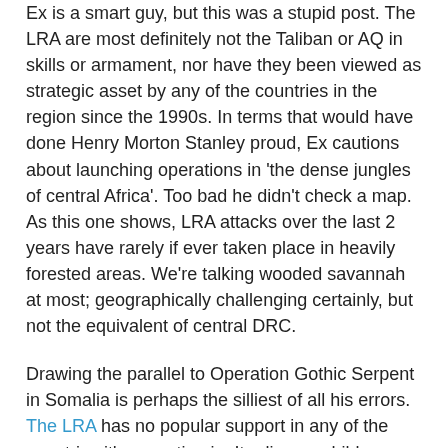Ex is a smart guy, but this was a stupid post. The LRA are most definitely not the Taliban or AQ in skills or armament, nor have they been viewed as strategic asset by any of the countries in the region since the 1990s. In terms that would have done Henry Morton Stanley proud, Ex cautions about launching operations in 'the dense jungles of central Africa'. Too bad he didn't check a map. As this one shows, LRA attacks over the last 2 years have rarely if ever taken place in heavily forested areas. We're talking wooded savannah at most; geographically challenging certainly, but not the equivalent of central DRC.
Drawing the parallel to Operation Gothic Serpent in Somalia is perhaps the silliest of all his errors. The LRA has no popular support in any of the countries it's operating in. It relies on children captured during its raids on villages to replenish its ranks. It has no political agenda other than survival. Civilians in affected areas are begging for more international engagement, and are ready to welcome anybody who will protect them (as evident in the reported response of civilians to the UPDF in north eastern DRC - see pp. 6-7) And the governments of Uganda, DRC, Central